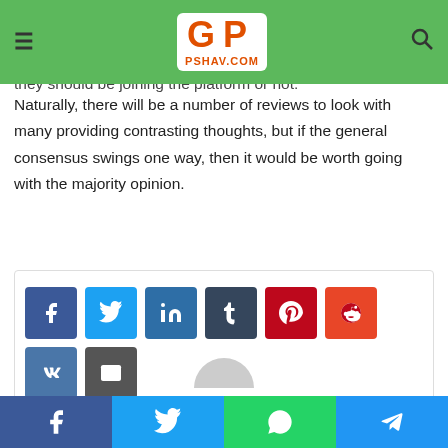pshav.com navigation bar with logo
A quick perusal on a search engine of their nl vce should highlight a host of different reviews that have been left, which can help people to make an informed decision about whether they should be joining the platform or not.
Naturally, there will be a number of reviews to look with many providing contrasting thoughts, but if the general consensus swings one way, then it would be worth going with the majority opinion.
[Figure (other): Social share buttons box with icons for Facebook, Twitter, LinkedIn, Tumblr, Pinterest, Reddit, VK, Email, Print]
Bottom social share bar with Facebook, Twitter, WhatsApp, Telegram buttons